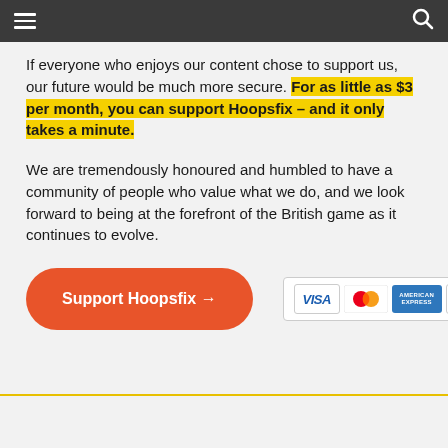Hoopsfix navigation bar
If everyone who enjoys our content chose to support us, our future would be much more secure. For as little as $3 per month, you can support Hoopsfix – and it only takes a minute.
We are tremendously honoured and humbled to have a community of people who value what we do, and we look forward to being at the forefront of the British game as it continues to evolve.
[Figure (other): Support Hoopsfix orange button with arrow and payment icons (Visa, Mastercard, American Express, PayPal)]